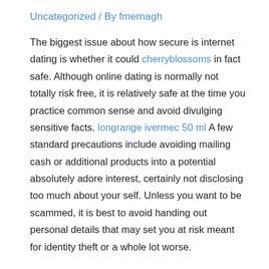Uncategorized / By fmernagh
The biggest issue about how secure is internet dating is whether it could cherryblossoms in fact safe. Although online dating is normally not totally risk free, it is relatively safe at the time you practice common sense and avoid divulging sensitive facts. longrange ivermec 50 ml A few standard precautions include avoiding mailing cash or additional products into a potential absolutely adore interest, certainly not disclosing too much about your self. Unless you want to be scammed, it is best to avoid handing out personal details that may set you at risk meant for identity theft or a whole lot worse.
Hardly ever send money to someone you've attained online. This is certainly a classic indication of a con. If a potential love curiosity asks for funds, don't give it. Similar goes for anyone that declares their particular love for everyone over email. If the person is asking for money to help you with a financial urgent, be wary and move on...